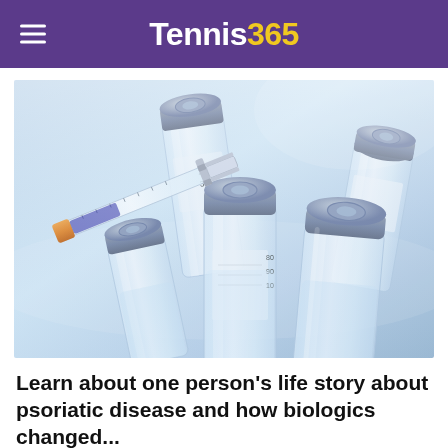Tennis365
[Figure (photo): Medical vials and a syringe with orange cap arranged on a light blue reflective surface. Multiple glass vials with grey rubber stoppers and a syringe showing measurement markings (20, 30 on syringe; 80, 90, 100 on vials) are visible.]
Learn about one person's life story about psoriatic disease and how biologics changed...
Sponsored - WebMD